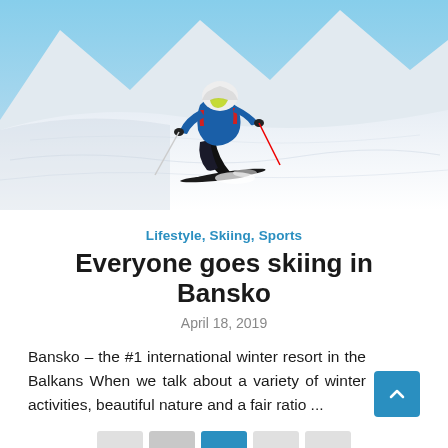[Figure (photo): A skier in a blue jacket and black pants carving down a steep snowy slope, leaning into a turn with ski poles, surrounded by snowy mountain scenery and blue sky.]
Lifestyle, Skiing, Sports
Everyone goes skiing in Bansko
April 18, 2019
Bansko – the #1 international winter resort in the Balkans When we talk about a variety of winter activities, beautiful nature and a fair ratio ...